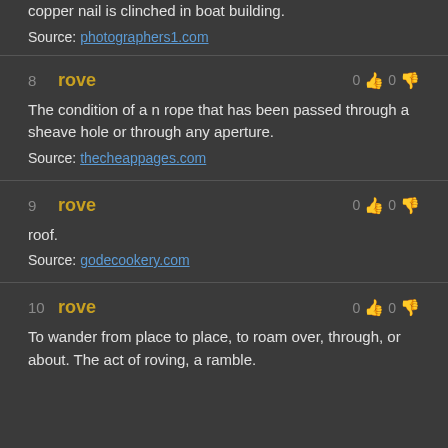copper nail is clinched in boat building.
Source: photographers1.com
8 rove — 0 0 — The condition of a n rope that has been passed through a sheave hole or through any aperture. Source: thecheappages.com
9 rove — 0 0 — roof. Source: godecookery.com
10 rove — 0 0 — To wander from place to place, to roam over, through, or about. The act of roving, a ramble.